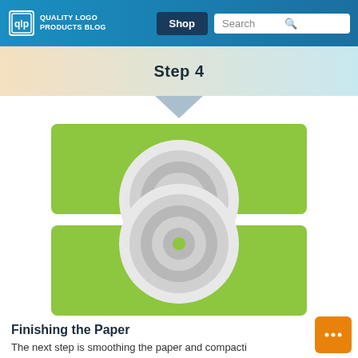Quality Logo Products Blog | Shop | Search
Step 4
[Figure (illustration): Two green rectangular panels stacked vertically with a white gap between them, each containing a large circular roller/cylinder element with concentric grey circles and a small green center dot, representing paper finishing rollers pressing paper through.]
Finishing the Paper
The next step is smoothing the paper and compacti even further. This is done by passing the paper thro